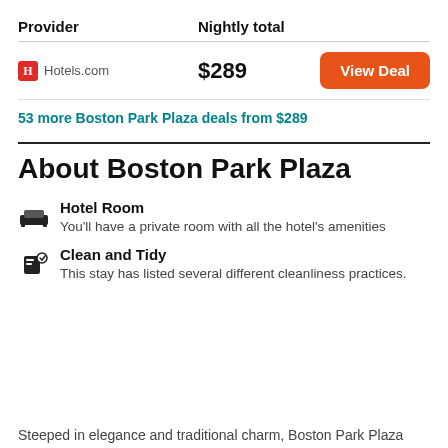| Provider | Nightly total |  |
| --- | --- | --- |
| Hotels.com | $289 | View Deal |
53 more Boston Park Plaza deals from $289
About Boston Park Plaza
Hotel Room
You'll have a private room with all the hotel's amenities
Clean and Tidy
This stay has listed several different cleanliness practices.
Steeped in elegance and traditional charm, Boston Park Plaza